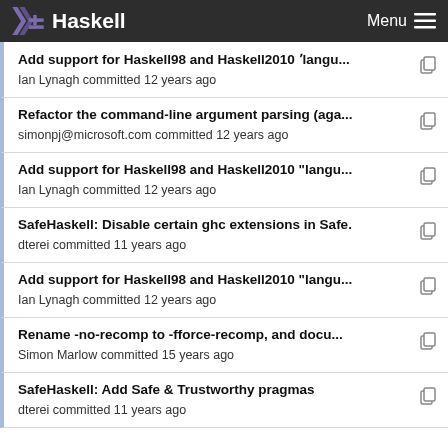Haskell  Menu
Add support for Haskell98 and Haskell2010 'langu...
Ian Lynagh committed 12 years ago
Refactor the command-line argument parsing (aga...
simonpj@microsoft.com committed 12 years ago
Add support for Haskell98 and Haskell2010 "langu...
Ian Lynagh committed 12 years ago
SafeHaskell: Disable certain ghc extensions in Safe.
dterei committed 11 years ago
Add support for Haskell98 and Haskell2010 "langu...
Ian Lynagh committed 12 years ago
Rename -no-recomp to -fforce-recomp, and docu...
Simon Marlow committed 15 years ago
SafeHaskell: Add Safe & Trustworthy pragmas
dterei committed 11 years ago